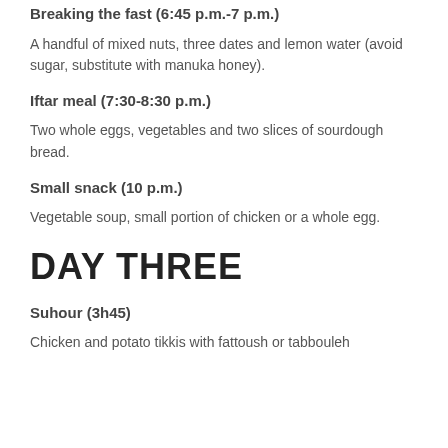Breaking the fast (6:45 p.m.-7 p.m.)
A handful of mixed nuts, three dates and lemon water (avoid sugar, substitute with manuka honey).
Iftar meal (7:30-8:30 p.m.)
Two whole eggs, vegetables and two slices of sourdough bread.
Small snack (10 p.m.)
Vegetable soup, small portion of chicken or a whole egg.
DAY THREE
Suhour (3h45)
Chicken and potato tikkis with fattoush or tabbouleh